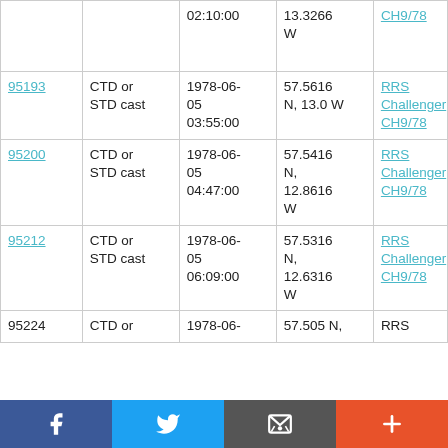| ID | Type | Date/Time | Location | Cruise |
| --- | --- | --- | --- | --- |
|  |  | 02:10:00 | 13.3266 W | CH9/78 |
| 95193 | CTD or STD cast | 1978-06-05 03:55:00 | 57.5616 N, 13.0 W | RRS Challenger CH9/78 |
| 95200 | CTD or STD cast | 1978-06-05 04:47:00 | 57.5416 N, 12.8616 W | RRS Challenger CH9/78 |
| 95212 | CTD or STD cast | 1978-06-05 06:09:00 | 57.5316 N, 12.6316 W | RRS Challenger CH9/78 |
| 95224 | CTD or... | 1978-06-... | 57.505 N, | RRS |